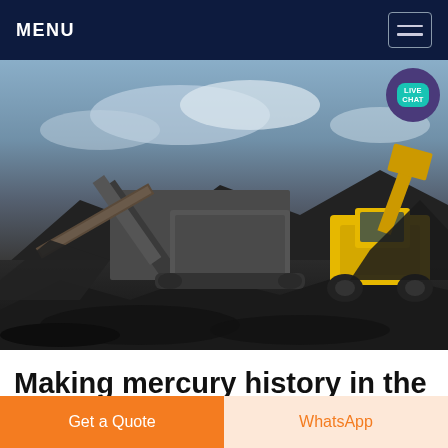MENU
[Figure (photo): Mining site with industrial crusher/conveyor machinery and a yellow front-end loader working a large pile of black crushed rock under a cloudy sky. A 'LIVE CHAT' badge overlay is visible in the top-right corner of the image.]
Making mercury history in the artisanal small
Get a Quote
WhatsApp